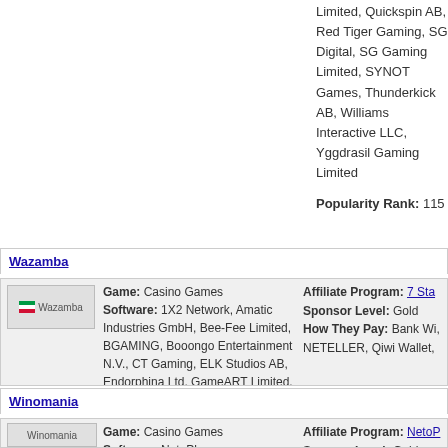Limited, Quickspin AB, Red Tiger Gaming, SG Digital, SG Gaming Limited, SYNOT Games, Thunderkick AB, Williams Interactive LLC, Yggdrasil Gaming Limited
Popularity Rank: 115
Wazamba
Game: Casino Games
Software: 1X2 Network, Amatic Industries GmbH, Bee-Fee Limited, BGAMING, Booongo Entertainment N.V., CT Gaming, ELK Studios AB, Endorphina Ltd, GameART Limited, Habanero Systems B.V., Igrosoft, iSoftBet, Nolimit City Limited, PariPlay Limited, Play'n GO, Pragmatic Play Ltd, Push Gaming Ltd, Quickfire Limited, Quickspin AB, Red Rake Gaming, Red Tiger Gaming, Relax Gaming Holding Ltd., Skywind Group, Spinomenal Ltd., Tom Horn Gaming, Wazdan Limited, Yggdrasil Gaming Limited
Popularity Rank: 19
Affiliate Program: 7 Stars Partners
Sponsor Level: Gold
How They Pay: Bank Wire, NETELLER, Qiwi Wallet,
Winomania
Game: Casino Games
Software: NetoPlay
Affiliate Program: NetoP
Sponsor Level: Gold